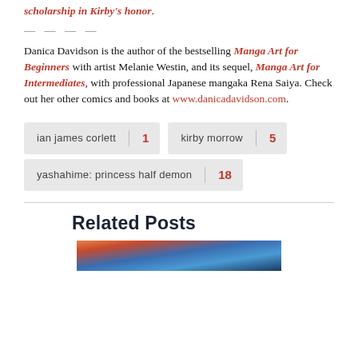scholarship in Kirby's honor.
— — — —
Danica Davidson is the author of the bestselling Manga Art for Beginners with artist Melanie Westin, and its sequel, Manga Art for Intermediates, with professional Japanese mangaka Rena Saiya. Check out her other comics and books at www.danicadavidson.com.
ian james corlett 1
kirby morrow 5
yashahime: princess half demon 18
Related Posts
[Figure (photo): Colorful illustrated image for a related post, showing orange/red and blue fantasy art]